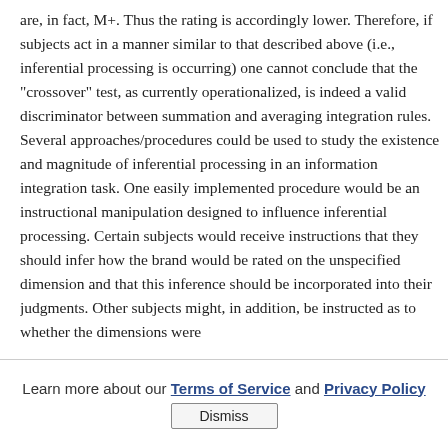are, in fact, M+. Thus the rating is accordingly lower. Therefore, if subjects act in a manner similar to that described above (i.e., inferential processing is occurring) one cannot conclude that the "crossover" test, as currently operationalized, is indeed a valid discriminator between summation and averaging integration rules. Several approaches/procedures could be used to study the existence and magnitude of inferential processing in an information integration task. One easily implemented procedure would be an instructional manipulation designed to influence inferential processing. Certain subjects would receive instructions that they should infer how the brand would be rated on the unspecified dimension and that this inference should be incorporated into their judgments. Other subjects might, in addition, be instructed as to whether the dimensions were
Learn more about our Terms of Service and Privacy Policy
Dismiss